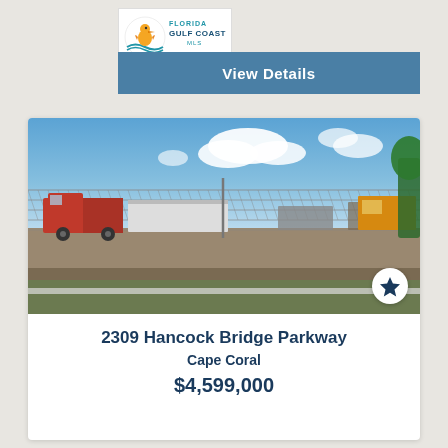[Figure (logo): Florida Gulf Coast MLS logo with pelican mascot and blue/orange text]
View Details
[Figure (photo): Outdoor photo of a commercial/industrial lot with chain-link fence, large red trucks and vehicles parked in a yard, blue sky with white clouds]
2309 Hancock Bridge Parkway
Cape Coral
$4,599,000